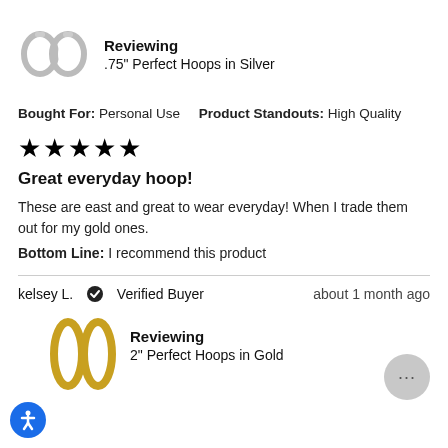[Figure (photo): Silver hoop earrings product image]
Reviewing
.75" Perfect Hoops in Silver
Bought For: Personal Use   Product Standouts: High Quality
[Figure (other): 5 star rating shown as black stars]
Great everyday hoop!
These are east and great to wear everyday! When I trade them out for my gold ones.
Bottom Line: I recommend this product
about 1 month ago
kelsey L.  ✔ Verified Buyer
[Figure (photo): Gold hoop earrings product image]
Reviewing
2" Perfect Hoops in Gold